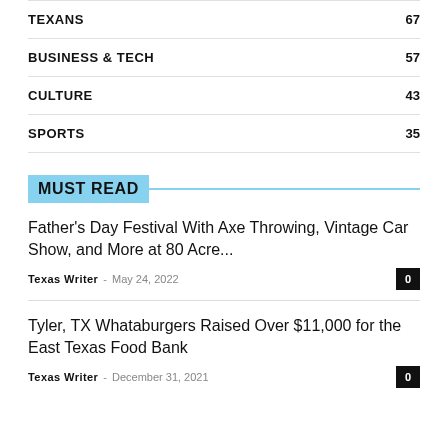TEXANS 67
BUSINESS & TECH 57
CULTURE 43
SPORTS 35
MUST READ
Father's Day Festival With Axe Throwing, Vintage Car Show, and More at 80 Acre...
Texas Writer — May 24, 2022
Tyler, TX Whataburgers Raised Over $11,000 for the East Texas Food Bank
Texas Writer — December 31, 2021